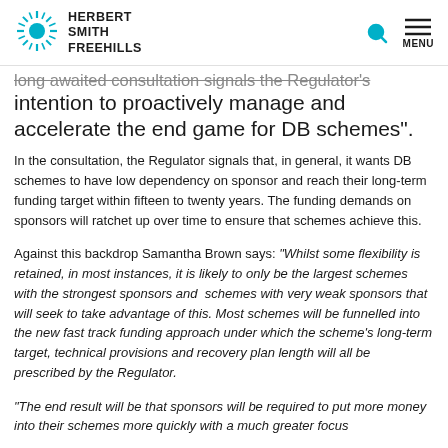HERBERT SMITH FREEHILLS
long awaited consultation signals the Regulator's intention to proactively manage and accelerate the end game for DB schemes".
In the consultation, the Regulator signals that, in general, it wants DB schemes to have low dependency on sponsor and reach their long-term funding target within fifteen to twenty years. The funding demands on sponsors will ratchet up over time to ensure that schemes achieve this.
Against this backdrop Samantha Brown says: "Whilst some flexibility is retained, in most instances, it is likely to only be the largest schemes with the strongest sponsors and schemes with very weak sponsors that will seek to take advantage of this. Most schemes will be funnelled into the new fast track funding approach under which the scheme's long-term target, technical provisions and recovery plan length will all be prescribed by the Regulator.
"The end result will be that sponsors will be required to put more money into their schemes more quickly with a much greater focus